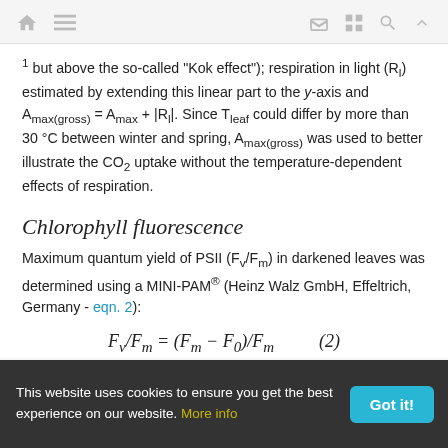Navigation icons: home, menu, mail, grid, search, up
1 but above the so-called "Kok effect"); respiration in light (Rl) estimated by extending this linear part to the y-axis and Amax(gross) = Amax + |Rl|. Since Tleaf could differ by more than 30 °C between winter and spring, Amax(gross) was used to better illustrate the CO2 uptake without the temperature-dependent effects of respiration.
Chlorophyll fluorescence
Maximum quantum yield of PSII (Fv/Fm) in darkened leaves was determined using a MINI-PAM® (Heinz Walz GmbH, Effeltrich, Germany - eqn. 2):
This website uses cookies to ensure you get the best experience on our website. More info | Got it!